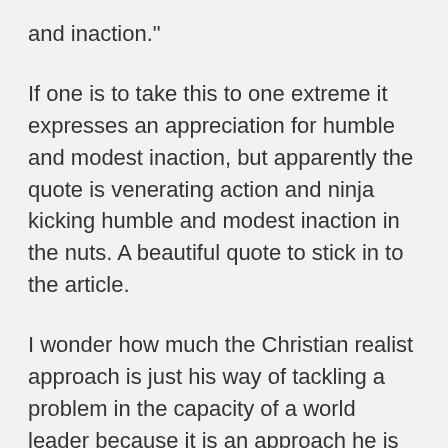and inaction."
If one is to take this to one extreme it expresses an appreciation for humble and modest inaction, but apparently the quote is venerating action and ninja kicking humble and modest inaction in the nuts. A beautiful quote to stick in to the article.
I wonder how much the Christian realist approach is just his way of tackling a problem in the capacity of a world leader because it is an approach he is aware of and defaults to because it never seems to be a clear decision making issue. All those years listening to Rev, Wright must have offered a paradigmatic approach to "evil", one Obama may or may not